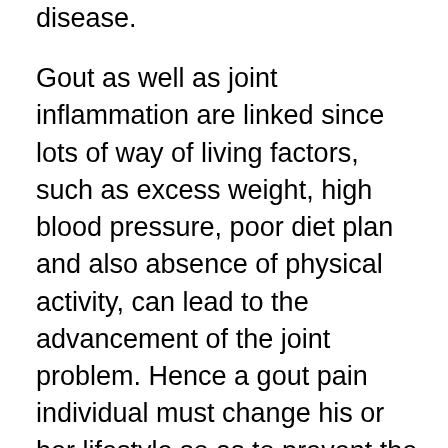disease.
Gout as well as joint inflammation are linked since lots of way of living factors, such as excess weight, high blood pressure, poor diet plan and also absence of physical activity, can lead to the advancement of the joint problem. Hence a gout pain individual must change his or her lifestyle so as to prevent the danger factors, while at the same time attempting to decrease the symptoms as well as difficulties of the joint inflammation. For this purpose the gout pain victim have to embrace a positive mental attitude. These self-managing techniques consist of a regular and vigorous physical activity routine that advertises the formation of healthy and balance joints, and also the patient to...